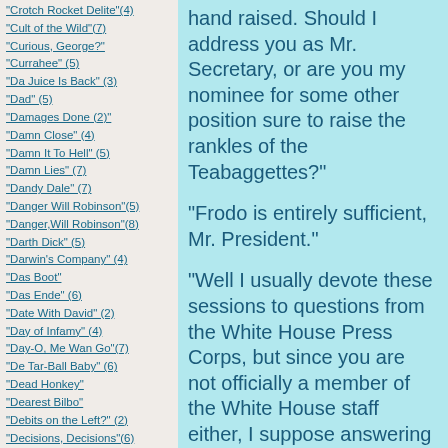"Crotch Rocket Delite"(4)
"Cult of the Wild"(7)
"Curious, George?"
"Currahee" (5)
"Da Juice Is Back" (3)
"Dad" (5)
"Damages Done (2)"
"Damn Close" (4)
"Damn It To Hell" (5)
"Damn Lies" (7)
"Dandy Dale" (7)
"Danger Will Robinson"(5)
"Danger,Will Robinson"(8)
"Darth Dick" (5)
"Darwin's Company" (4)
"Das Boot"
"Das Ende" (6)
"Date With David" (2)
"Day of Infamy" (4)
"Day-O, Me Wan Go"(7)
"De Tar-Ball Baby" (6)
"Dead Honkey"
"Dearest Bilbo"
"Debits on the Left?" (2)
"Decisions, Decisions"(6)
"Deep and Dark" (5)
"Deep Shiite" (3)
"Degree of Separation"(6)
hand raised. Should I address you as Mr. Secretary, or are you my nominee for some other position sure to raise the rankles of the Teabaggettes?"
"Frodo is entirely sufficient, Mr. President."
"Well I usually devote these sessions to questions from the White House Press Corps, but since you are not officially a member of the White House staff either, I suppose answering a question from you is proper."
"Thank you Sir, but I'm not sure you're going to like my question."